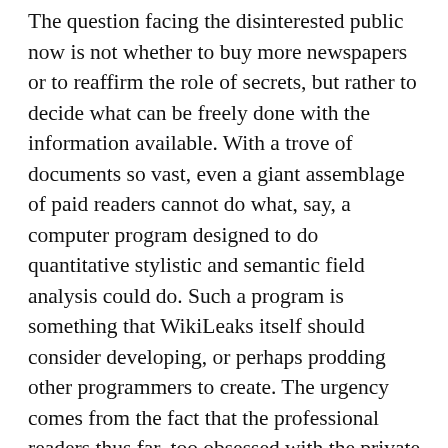The question facing the disinterested public now is not whether to buy more newspapers or to reaffirm the role of secrets, but rather to decide what can be freely done with the information available. With a trove of documents so vast, even a giant assemblage of paid readers cannot do what, say, a computer program designed to do quantitative stylistic and semantic field analysis could do. Such a program is something that WikiLeaks itself should consider developing, or perhaps prodding other programmers to create. The urgency comes from the fact that the professional readers thus far, too obsessed with the private statements of maladroit diplomats or the everywhere-visible graft in the Afghan government, have routinely failed to point out some of the most valuable revelations in the documents. Robert Naiman, writing for Truthout.org, reported on a cable that neither the Guardian, Le Monde, nor the Times has pointed to. Naiman noted that in the case of the June 28, 2009